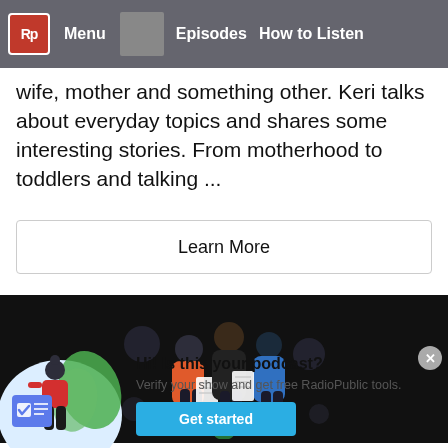Rp Menu Episodes How to Listen
wife, mother and something other. Keri talks about everyday topics and shares some interesting stories. From motherhood to toddlers and talking ...
Learn More
[Figure (illustration): Dark background banner with illustration of three people looking at documents together]
[Figure (illustration): Illustration of a person with a checklist card, green leaves in background, on a light blue circular background]
Hi! Is this your podcast? Verify your show and get free RadioPublic tools. Get started